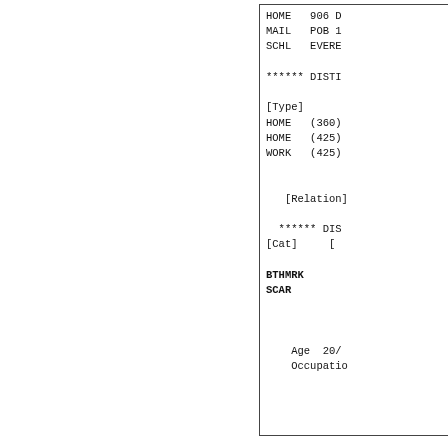HOME   906 D
MAIL   POB 1
SCHL   EVERE

****** DISTI

[Type]
HOME   (360)
HOME   (425)
WORK   (425)


   [Relation]

   ****** DIS
[Cat]     [

BTHMRK
SCAR


      Age  20/
      Occupatio